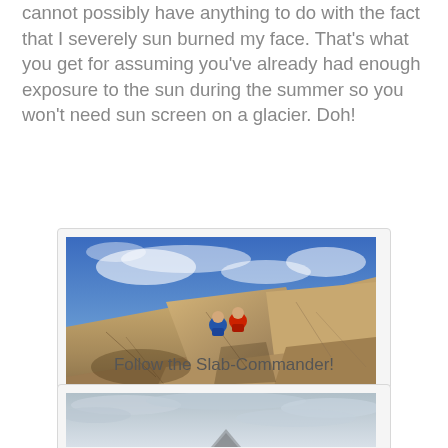cannot possibly have anything to do with the fact that I severely sun burned my face. That’s what you get for assuming you’ve already had enough exposure to the sun during the summer so you won’t need sun screen on a glacier. Doh!
[Figure (photo): Outdoor photo of climbers scrambling over large granite boulders and slabs under a vivid blue sky with light clouds. Two figures in blue and red jackets are visible in the upper middle area of the image.]
Follow the Slab-Commander!
[Figure (photo): Outdoor photo showing a wide expanse of sky with light clouds, with a faint figure or mountain peak barely visible at the bottom center.]